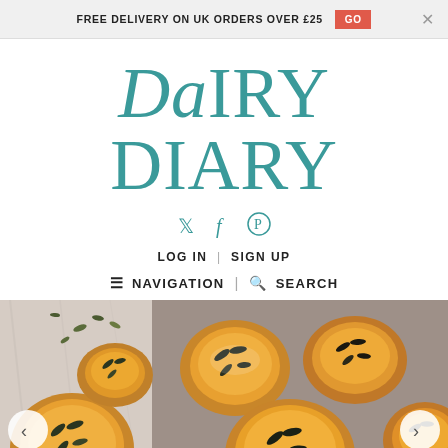FREE DELIVERY ON UK ORDERS OVER £25  GO  X
DaIRY DIARY
Twitter  Facebook  Pinterest
LOG IN  |  SIGN UP
≡  NAVIGATION  |  🔍  SEARCH
[Figure (photo): Photo of small pumpkin custard tarts topped with seeds on a marble/grey surface, shown as a website carousel with left and right navigation arrows.]